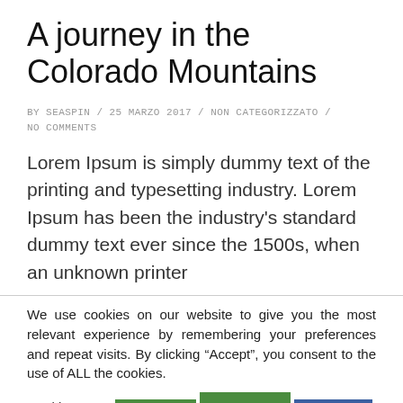A journey in the Colorado Mountains
BY SEASPIN / 25 MARZO 2017 / NON CATEGORIZZATO / NO COMMENTS
Lorem Ipsum is simply dummy text of the printing and typesetting industry. Lorem Ipsum has been the industry's standard dummy text ever since the 1500s, when an unknown printer
We use cookies on our website to give you the most relevant experience by remembering your preferences and repeat visits. By clicking “Accept”, you consent to the use of ALL the cookies.
Cookie settings | ACCEPT | ACCEPT ALL | REJECT
Read More